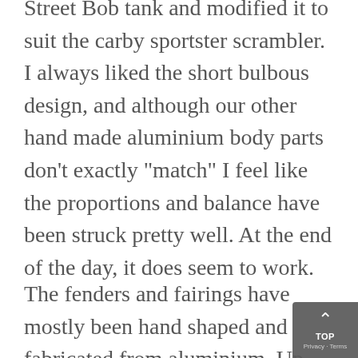Street Bob tank and modified it to suit the carby sportster scrambler. I always liked the short bulbous design, and although our other hand made aluminium body parts don't exactly "match" I feel like the proportions and balance have been struck pretty well. At the end of the day, it does seem to work.
The fenders and fairings have mostly been hand shaped and fabricated from aluminium. Up front we have an MX style number plate that houses the headlight up, custom fork shrouds and a short/high